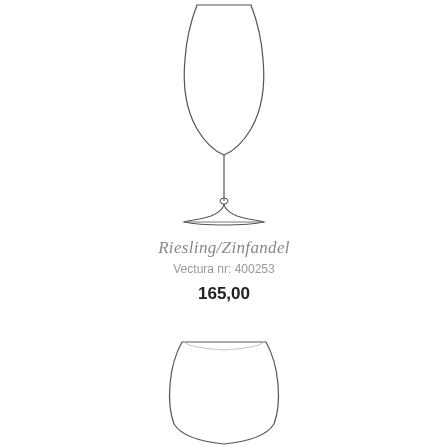[Figure (illustration): A tall wine glass (Riesling/Zinfandel style) with a large bowl, long stem, and flat base, rendered in outline/line art style against white background]
Riesling/Zinfandel
Vectura nr: 400253
165,00
[Figure (illustration): A short stemless wine glass with a wide rounded bowl, shown from the front in outline/line art style, partially cropped at the bottom of the page]